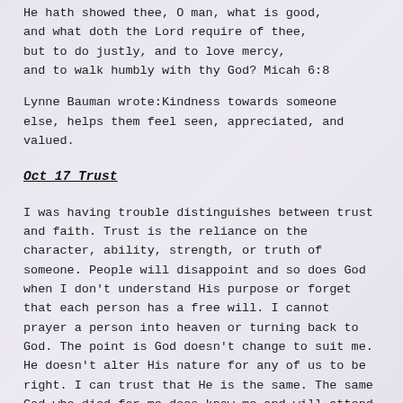He hath showed thee, O man, what is good, and what doth the Lord require of thee, but to do justly, and to love mercy, and to walk humbly with thy God? Micah 6:8
Lynne Bauman wrote:Kindness towards someone else, helps them feel seen, appreciated, and valued.
Oct 17 Trust
I was having trouble distinguishes between trust and faith. Trust is the reliance on the character, ability, strength, or truth of someone. People will disappoint and so does God when I don't understand His purpose or forget that each person has a free will. I cannot prayer a person into heaven or turning back to God. The point is God doesn't change to suit me. He doesn't alter His nature for any of us to be right. I can trust that He is the same. The same God who died for me does know me and will attend His...